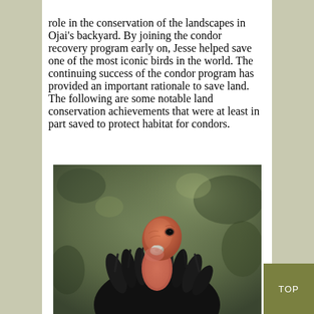role in the conservation of the landscapes in Ojai's backyard. By joining the condor recovery program early on, Jesse helped save one of the most iconic birds in the world. The continuing success of the condor program has provided an important rationale to save land. The following are some notable land conservation achievements that were at least in part saved to protect habitat for condors.
[Figure (photo): Close-up photograph of a California condor looking upward, showing its distinctive bare pinkish-orange head and neck with black feathers ruffled around its body, with a blurred green background.]